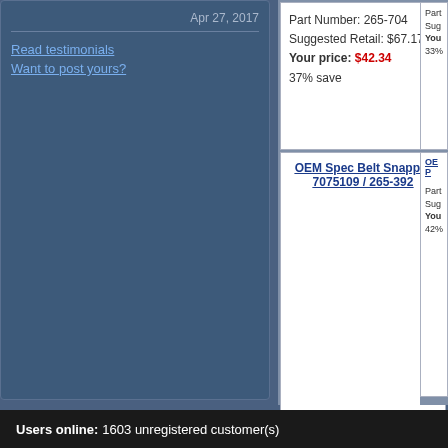Apr 27, 2017
Read testimonials
Want to post yours?
Part Number: 265-704
Suggested Retail: $67.17
Your price: $42.34
37% save
OEM Spec Belt Snapper 7075109 / 265-392
Part Number: 265-392
Suggested Retail: $33.00
Your price: $17.33
47% save
Users online:  1603 unregistered customer(s)